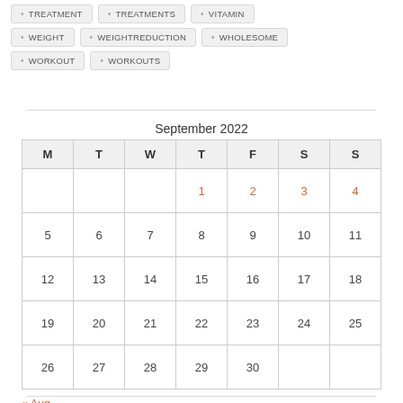TREATMENT
TREATMENTS
VITAMIN
WEIGHT
WEIGHTREDUCTION
WHOLESOME
WORKOUT
WORKOUTS
September 2022
| M | T | W | T | F | S | S |
| --- | --- | --- | --- | --- | --- | --- |
|  |  |  | 1 | 2 | 3 | 4 |
| 5 | 6 | 7 | 8 | 9 | 10 | 11 |
| 12 | 13 | 14 | 15 | 16 | 17 | 18 |
| 19 | 20 | 21 | 22 | 23 | 24 | 25 |
| 26 | 27 | 28 | 29 | 30 |  |  |
« Aug